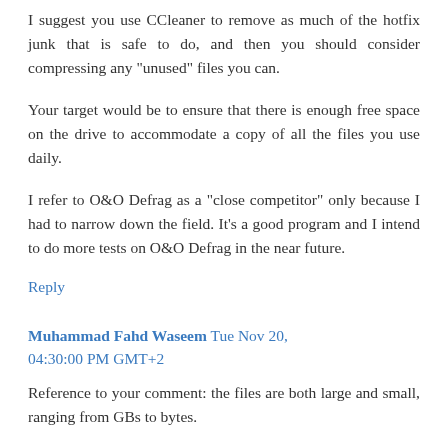I suggest you use CCleaner to remove as much of the hotfix junk that is safe to do, and then you should consider compressing any "unused" files you can.
Your target would be to ensure that there is enough free space on the drive to accommodate a copy of all the files you use daily.
I refer to O&O Defrag as a "close competitor" only because I had to narrow down the field. It's a good program and I intend to do more tests on O&O Defrag in the near future.
Reply
Muhammad Fahd Waseem Tue Nov 20, 04:30:00 PM GMT+2
Reference to your comment: the files are both large and small, ranging from GBs to bytes.